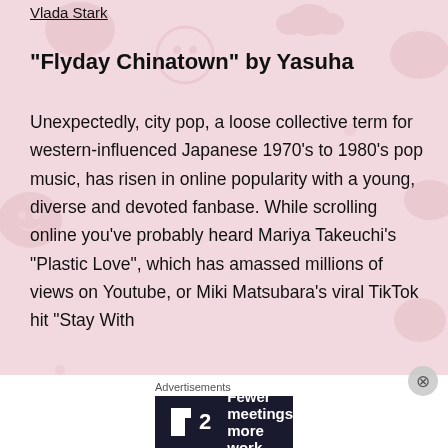Vlada Stark
“Flyday Chinatown” by Yasuha
Unexpectedly, city pop, a loose collective term for western-influenced Japanese 1970’s to 1980’s pop music, has risen in online popularity with a young, diverse and devoted fanbase. While scrolling online you’ve probably heard Mariya Takeuchi’s “Plastic Love”, which has amassed millions of views on Youtube, or Miki Matsubara’s viral TikTok hit “Stay With
Advertisements
Fewer meetings, more work.